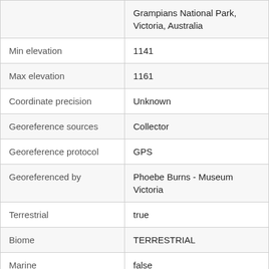| Field | Value |
| --- | --- |
|  | Grampians National Park, Victoria, Australia |
| Min elevation | 1141 |
| Max elevation | 1161 |
| Coordinate precision | Unknown |
| Georeference sources | Collector |
| Georeference protocol | GPS |
| Georeferenced by | Phoebe Burns - Museum Victoria |
| Terrestrial | true |
| Biome | TERRESTRIAL |
| Marine | false |
| Country Code | AU |
| Location ID | MW01-PB |